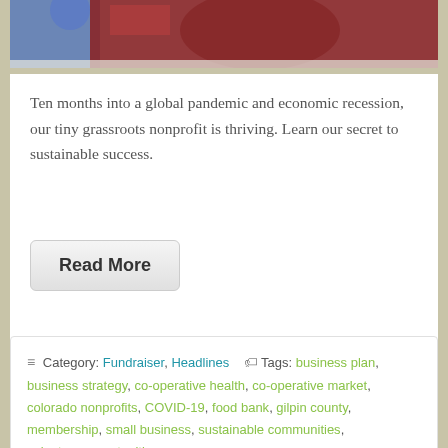[Figure (photo): Partial photo of people, cropped at top of page showing colorful clothing]
Ten months into a global pandemic and economic recession, our tiny grassroots nonprofit is thriving. Learn our secret to sustainable success.
Read More
Category: Fundraiser, Headlines   Tags: business plan, business strategy, co-operative health, co-operative market, colorado nonprofits, COVID-19, food bank, gilpin county, membership, small business, sustainable communities, volunteer opportunities